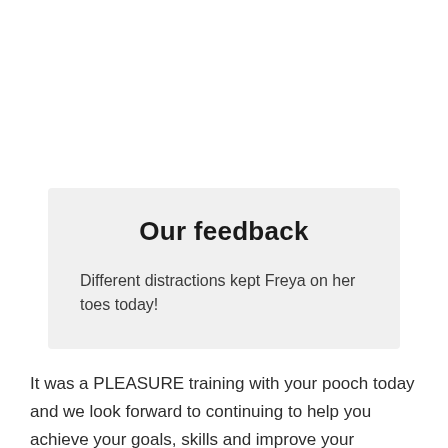Our feedback
Different distractions kept Freya on her toes today!
It was a PLEASURE training with your pooch today and we look forward to continuing to help you achieve your goals, skills and improve your